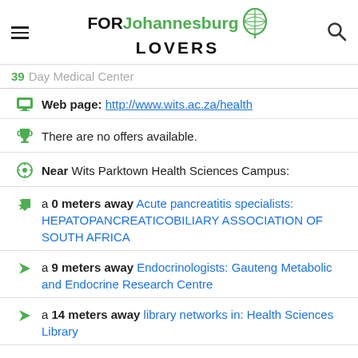FORJohannesburgLOVERS
Web page: http://www.wits.ac.za/health
There are no offers available.
Near Wits Parktown Health Sciences Campus:
a 0 meters away Acute pancreatitis specialists: HEPATOPANCREATICOBILIARY ASSOCIATION OF SOUTH AFRICA
a 9 meters away Endocrinologists: Gauteng Metabolic and Endocrine Research Centre
a 14 meters away library networks in: Health Sciences Library
Are you the owner of the business? PROMOTE IT!